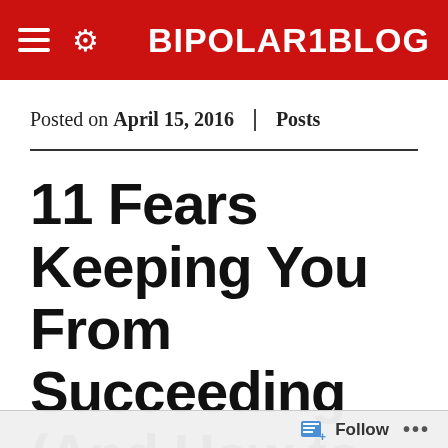BIPOLAR1BLOG
Posted on April 15, 2016 | Posts
11 Fears Keeping You From Succeeding (And How to Conquer Them)